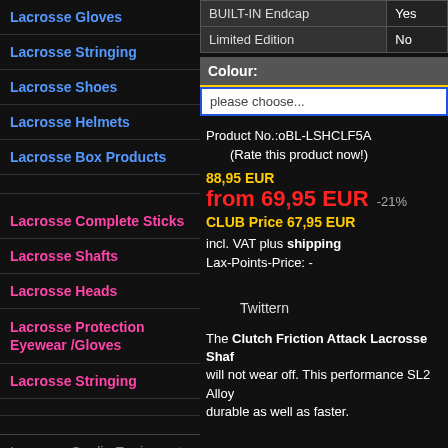Lacrosse Gloves
Lacrosse Stringing
Lacrosse Shoes
Lacrosse Helmets
Lacrosse Box Products
Lacrosse Complete Sticks
Lacrosse Shafts
Lacrosse Heads
Lacrosse Protection Eyewear /Gloves
Lacrosse Stringing
Lacrosse Goalie Equipment
Lacrosse Bags / Backbags
Lacrosse Apparel / Teamwear
| BUILT-IN Endcap | Yes |
| --- | --- |
| Limited Edition | No |
Colour:
please choose...
Product No.:oBL-LSHCLF5A
(Rate this product now!)
88,95 EUR
from 69,95 EUR  -21%
CLUB Price 67,95 EUR
incl. VAT plus shipping
Lax-Points-Price: -
Twittern
The Clutch Friction Attack Lacrosse Shaf will not wear off. This performance SL2 Alloy durable as well as faster.